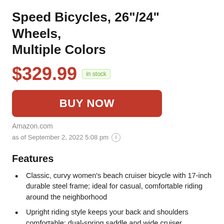Speed Bicycles, 26"/24" Wheels, Multiple Colors
$329.99 in stock
[Figure (other): BUY NOW button (red rounded rectangle)]
Amazon.com
as of September 2, 2022 5:08 pm (i)
Features
Classic, curvy women's beach cruiser bicycle with 17-inch durable steel frame; ideal for casual, comfortable riding around the neighborhood
Upright riding style keeps your back and shoulders comfortable; dual-spring saddle and wide cruiser handlebar with foam grips